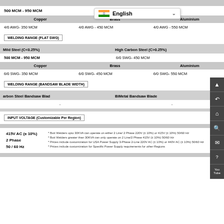|  |  |
| --- | --- |
| 500 MCM - 950 MCM | 4/0 AWG- 450 MCM |
| Copper | Brass | Aluminium |
| --- | --- | --- |
| 4/0 AWG- 350 MCM | 4/0 AWG - 450 MCM | 4/0 AWG - 550 MCM |
WELDING RANGE (FLAT SWG)
| Mild Steel (C<0.25%) | High Carbon Steel (C>0.25%) |
| --- | --- |
| 500 MCM - 950 MCM | 6/0 SWG- 450 MCM |
| Copper | Brass | Aluminium |
| --- | --- | --- |
| 6/0 SWG- 350 MCM | 6/0 SWG- 450 MCM | 6/0 SWG- 550 MCM |
WELDING RANGE (BANDSAW BLADE WIDTH)
| Carbon Steel Bandsaw Blade | BiMetal Bandsaw Blade |
| --- | --- |
| - | - |
INPUT VOLTAGE (Customizable Per Region)
415V AC (± 10%)
2 Phase
50 / 60 Hz
* Butt Welders upto 30KVA can operate on either 2 Line/ 2 Phase 220V (± 10%) or 415V (± 10%) 50/60 Hz
* Butt Welders greater than 30KVA can only operate on 2 Line/2 Phase 415V (± 10%) 50/60 Hz
* Prices include customization for USA Power Supply 3-Phase 2-Line 220V AC (± 10%) or 440V AC (± 10%) 50/60 Hz
* Prices include customization for Specific Power Supply requirements for other Regions